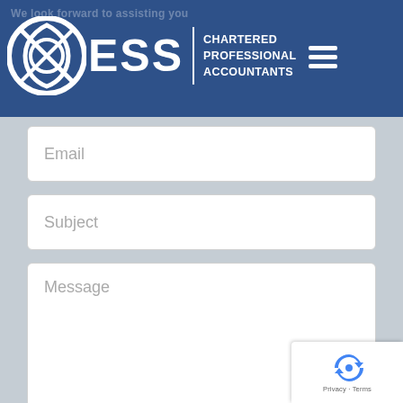We look forward to assisting you
[Figure (logo): ESS Chartered Professional Accountants logo with circular shield icon, ESS text, vertical divider, and hamburger menu icon]
Email
Subject
Message
[Figure (other): reCAPTCHA badge with Google reCAPTCHA icon and Privacy - Terms links]